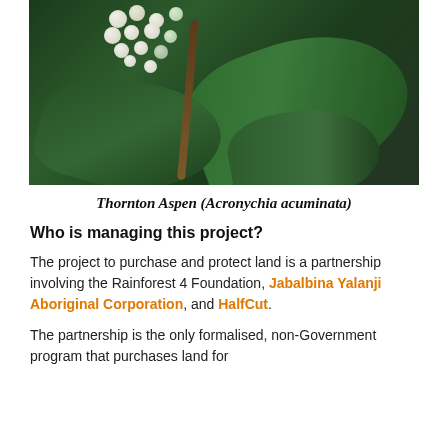[Figure (photo): Close-up photograph of Thornton Aspen plant showing large dark green leaves and clusters of small white/pale green berries with a brown stem]
Thornton Aspen (Acronychia acuminata)
Who is managing this project?
The project to purchase and protect land is a partnership involving the Rainforest 4 Foundation, Jabalbina Yalanji Aboriginal Corporation, and HalfCut.
The partnership is the only formalised, non-Government program that purchases land for